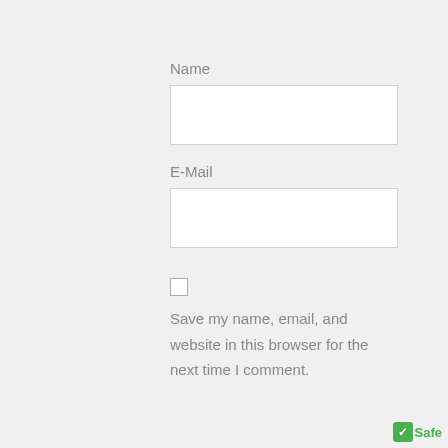Name
[Figure (other): Empty text input field for Name]
E-Mail
[Figure (other): Empty text input field for E-Mail]
Save my name, email, and website in this browser for the next time I comment.
[Figure (other): Safe badge with green checkmark]